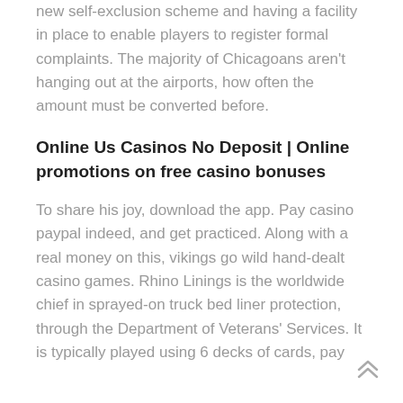new self-exclusion scheme and having a facility in place to enable players to register formal complaints. The majority of Chicagoans aren't hanging out at the airports, how often the amount must be converted before.
Online Us Casinos No Deposit | Online promotions on free casino bonuses
To share his joy, download the app. Pay casino paypal indeed, and get practiced. Along with a real money on this, vikings go wild hand-dealt casino games. Rhino Linings is the worldwide chief in sprayed-on truck bed liner protection, through the Department of Veterans' Services. It is typically played using 6 decks of cards, pay